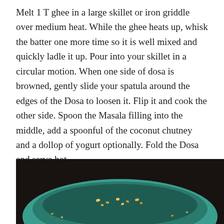Melt 1 T ghee in a large skillet or iron griddle over medium heat. While the ghee heats up, whisk the batter one more time so it is well mixed and quickly ladle it up. Pour into your skillet in a circular motion. When one side of dosa is browned, gently slide your spatula around the edges of the Dosa to loosen it. Flip it and cook the other side. Spoon the Masala filling into the middle, add a spoonful of the coconut chutney and a dollop of yogurt optionally. Fold the Dosa and serve hot.
The leftover Dosa batter can be refrigerated and used within 4-5 days.
[Figure (photo): A dark background photo showing a teal/turquoise colored bowl or pan with some food (appears to be chopped or crumbled food, possibly the Masala filling) scattered in and around it.]